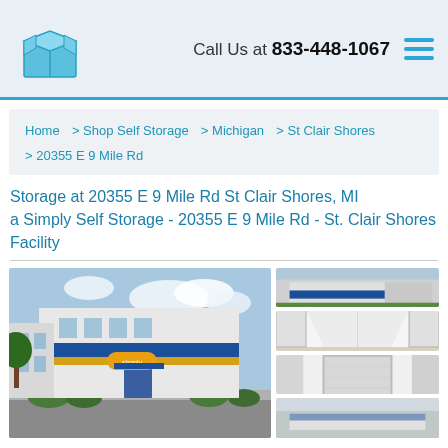Call Us at 833-448-1067
Home > Shop Self Storage > Michigan > St Clair Shores > 20355 E 9 Mile Rd
Storage at 20355 E 9 Mile Rd St Clair Shores, MI a Simply Self Storage - 20355 E 9 Mile Rd - St. Clair Shores Facility
[Figure (photo): Exterior photo of Simply Self Storage facility at 20355 E 9 Mile Rd, St. Clair Shores, MI - white building with blue and yellow stripe]
[Figure (photo): Thumbnail: exterior aerial/side view of storage facility]
[Figure (photo): Thumbnail: interior corridor of storage units]
[Figure (photo): Thumbnail: interior of storage unit]
[Figure (photo): Thumbnail: partial view, bottom cut off]